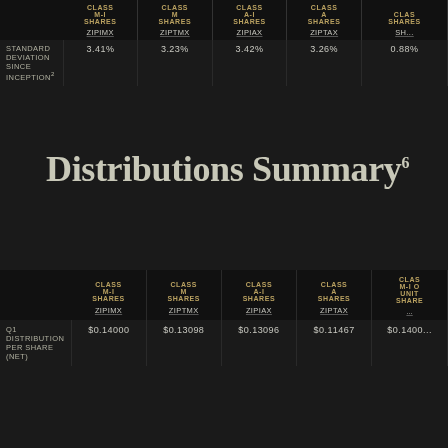|  | CLASS M-I SHARES ZIPIMX | CLASS M SHARES ZIPTMX | CLASS A-I SHARES ZIPIAX | CLASS A SHARES ZIPTAX | CLASS M-I OR UNITS SHARES SH... |
| --- | --- | --- | --- | --- | --- |
| STANDARD DEVIATION SINCE INCEPTION² | 3.41% | 3.23% | 3.42% | 3.26% | 0.88% |
Distributions Summary⁶
|  | CLASS M-I SHARES ZIPIMX | CLASS M SHARES ZIPTMX | CLASS A-I SHARES ZIPIAX | CLASS A SHARES ZIPTAX | CLASS M-I OR UNITS SHARES... |
| --- | --- | --- | --- | --- | --- |
| Q1 DISTRIBUTION PER SHARE (NET) | $0.14000 | $0.13098 | $0.13096 | $0.11467 | $0.1400... |